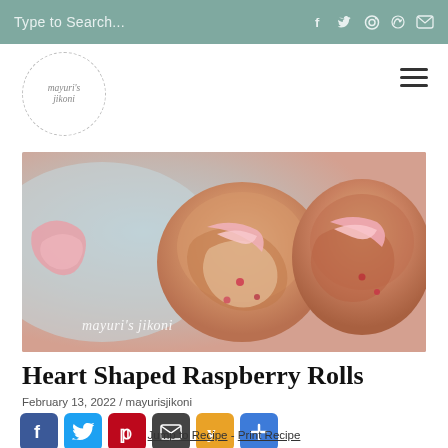Type to Search...
[Figure (logo): Mayuri's Jikoni circular logo with dashed border]
[Figure (photo): Heart shaped raspberry rolls with pink icing on a light blue background, with watermark 'mayuri's jikoni']
Heart Shaped Raspberry Rolls
February 13, 2022 / mayurisjikoni
[Figure (infographic): Social share buttons: Facebook, Twitter, Pinterest, Email, Yummly, AddThis]
Jump to Recipe - Print Recipe